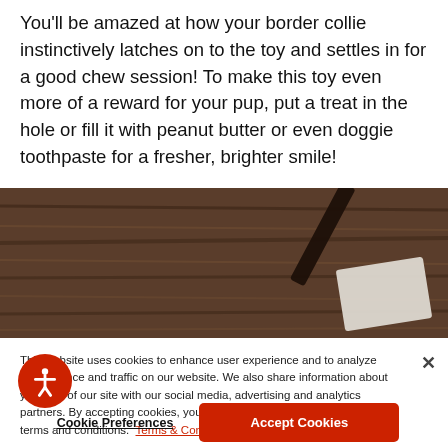You'll be amazed at how your border collie instinctively latches on to the toy and settles in for a good chew session! To make this toy even more of a reward for your pup, put a treat in the hole or fill it with peanut butter or even doggie toothpaste for a fresher, brighter smile!
[Figure (photo): Close-up photo of a dark wooden surface with a white card/tag and a dark cylindrical object, partially cropped.]
This website uses cookies to enhance user experience and to analyze performance and traffic on our website. We also share information about your use of our site with our social media, advertising and analytics partners. By accepting cookies, you are also agreeing to accept our site terms and conditions. Terms & Conditions
Cookie Preferences
Accept Cookies